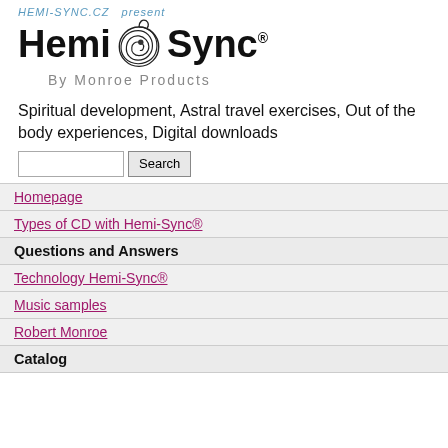[Figure (logo): Hemi-Sync by Monroe Products logo with spiral graphic and text 'HEMI-SYNC.CZ present']
Spiritual development, Astral travel exercises, Out of the body experiences, Digital downloads
Search [input field with Search button]
Homepage
Types of CD with Hemi-Sync®
Questions and Answers
Technology Hemi-Sync®
Music samples
Robert Monroe
Catalog